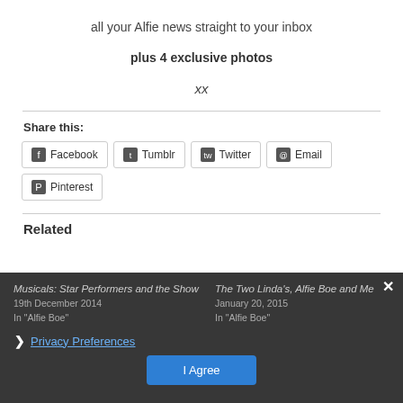all your Alfie news straight to your inbox
plus 4 exclusive photos
xx
Share this:
Facebook
Tumblr
Twitter
Email
Pinterest
Related
Musicals: Star Performers and the Show
19th December 2014
In "Alfie Boe"
The Two Linda's, Alfie Boe and Me
January 20, 2015
In "Alfie Boe"
Privacy Preferences
I Agree